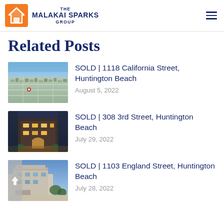THE MALAKAI SPARKS GROUP
Related Posts
[Figure (photo): Aerial view of Huntington Beach neighborhood]
SOLD | 1118 California Street, Huntington Beach
August 5, 2022
[Figure (photo): Modern luxury home exterior at night with lights]
SOLD | 308 3rd Street, Huntington Beach
July 29, 2022
[Figure (photo): Modern home exterior with rooftop terrace]
SOLD | 1103 England Street, Huntington Beach
July 28, 2022